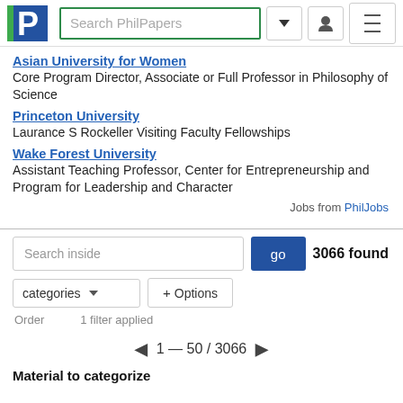Search PhilPapers
Asian University for Women
Core Program Director, Associate or Full Professor in Philosophy of Science
Princeton University
Laurance S Rockeller Visiting Faculty Fellowships
Wake Forest University
Assistant Teaching Professor, Center for Entrepreneurship and Program for Leadership and Character
Jobs from PhilJobs
3066 found
Search inside
categories
+ Options
Order	1 filter applied
1 — 50 / 3066
Material to categorize